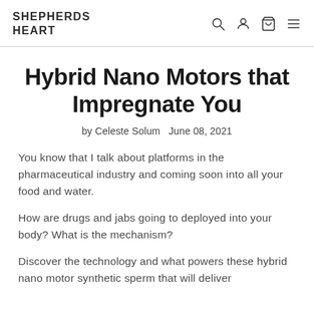SHEPHERDS HEART
Hybrid Nano Motors that Impregnate You
by Celeste Solum   June 08, 2021
You know that I talk about platforms in the pharmaceutical industry and coming soon into all your food and water.
How are drugs and jabs going to deployed into your body? What is the mechanism?
Discover the technology and what powers these hybrid nano motor synthetic sperm that will deliver